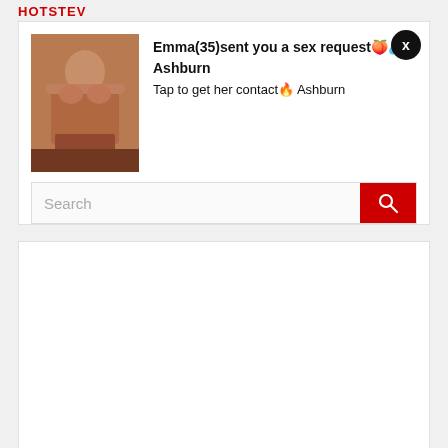HOTSTEV
[Figure (photo): Notification card with a woman photo, text: Emma(35)sent you a sex request 🍑💦 Ashburn. Tap to get her contact 🔥 Ashburn]
Search
[Figure (other): Empty white advertisement block]
sexy cosplaygirls